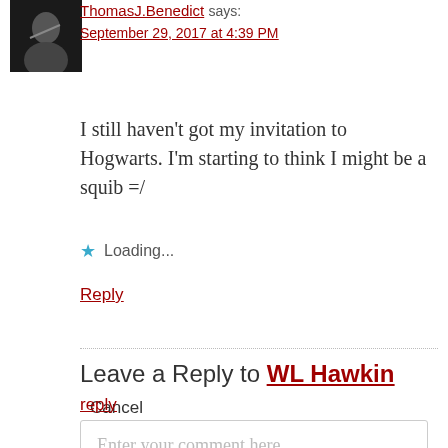[Figure (photo): Small avatar photo of a person writing, black and white]
ThomasJ.Benedict says:
September 29, 2017 at 4:39 PM
I still haven't got my invitation to Hogwarts. I'm starting to think I might be a squib =/
★ Loading...
Reply
Leave a Reply to WL Hawkin  Cancel reply
Enter your comment here...